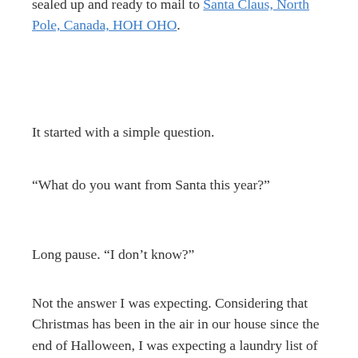sealed up and ready to mail to Santa Claus, North Pole, Canada, HOH OHO.
It started with a simple question.
“What do you want from Santa this year?”
Long pause. “I don’t know?”
Not the answer I was expecting. Considering that Christmas has been in the air in our house since the end of Halloween, I was expecting a laundry list of items. Not so.
So, the seeding began. After a few days, she decided upon a Leapster